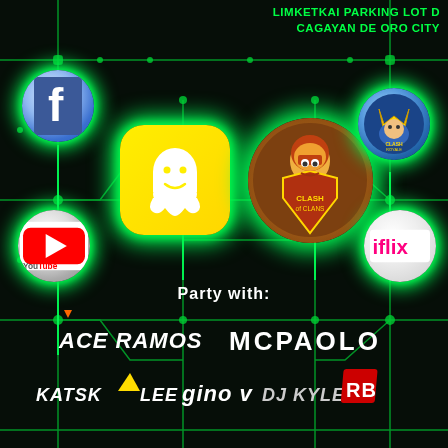LIMKETKAI PARKING LOT D
CAGAYAN DE ORO CITY
[Figure (infographic): Event promotional flyer with dark circuit board background, app icons (Facebook, Snapchat, Clash of Clans, Clash Royale, YouTube, iflix) connected by glowing green circuit lines, and performer names listed below.]
Party with:
ACE RAMOS   MCPAOLO
KATSK LEE  gino v  DJ KYLE  RB